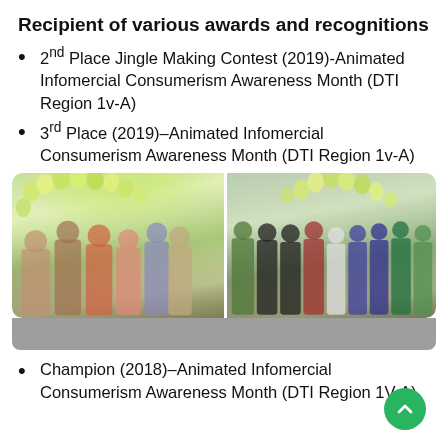Recipient of various awards and recognitions
2nd Place Jingle Making Contest (2019)-Animated Infomercial Consumerism Awareness Month (DTI Region 1v-A)
3rd Place (2019)–Animated Infomercial Consumerism Awareness Month (DTI Region 1v-A)
[Figure (photo): Two side-by-side photos of award recipients at an event with balloon arch decorations. Left photo shows a small group of students with trophies. Right photo shows a larger group of people posing together indoors.]
Champion (2018)–Animated Infomercial Consumerism Awareness Month (DTI Region IV-A)